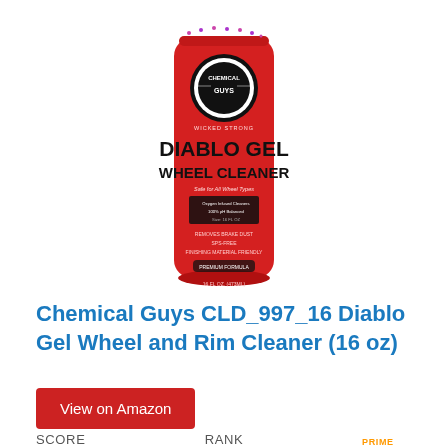[Figure (photo): Red bottle of Chemical Guys CLD_997_16 Diablo Gel Wheel Cleaner with Chemical Guys logo on a white background]
Chemical Guys CLD_997_16 Diablo Gel Wheel and Rim Cleaner (16 oz)
View on Amazon
SCORE